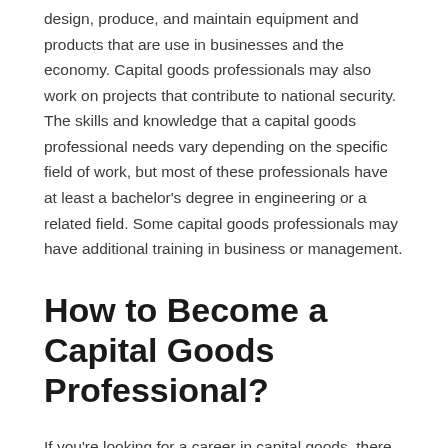design, produce, and maintain equipment and products that are use in businesses and the economy. Capital goods professionals may also work on projects that contribute to national security. The skills and knowledge that a capital goods professional needs vary depending on the specific field of work, but most of these professionals have at least a bachelor's degree in engineering or a related field. Some capital goods professionals may have additional training in business or management.
How to Become a Capital Goods Professional?
If you're looking for a career in capital goods, there are a few things you need to know. Capital goods professionals work with products that require high levels of precision